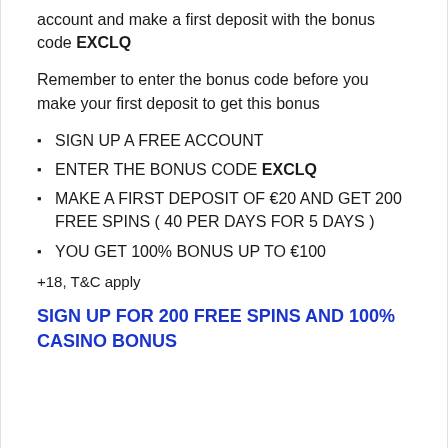account and make a first deposit with the bonus code EXCLQ
Remember to enter the bonus code before you make your first deposit to get this bonus
SIGN UP A FREE ACCOUNT
ENTER THE BONUS CODE EXCLQ
MAKE A FIRST DEPOSIT OF €20 AND GET 200 FREE SPINS ( 40 PER DAYS FOR 5 DAYS )
YOU GET 100% BONUS UP TO €100
+18, T&C apply
SIGN UP FOR 200 FREE SPINS AND 100% CASINO BONUS